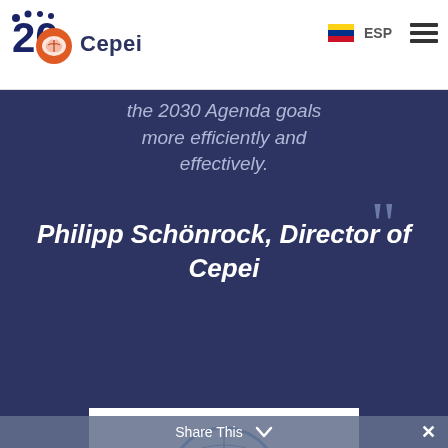[Figure (logo): Cepei 20th anniversary logo with orange brain graphic and blue Cepei wordmark]
the 2030 Agenda goals more efficiently and effectively.
Philipp Schönrock, Director of Cepei
ORGANIZERS
[Figure (logo): United Nations emblem - blue globe with olive branches]
Share This